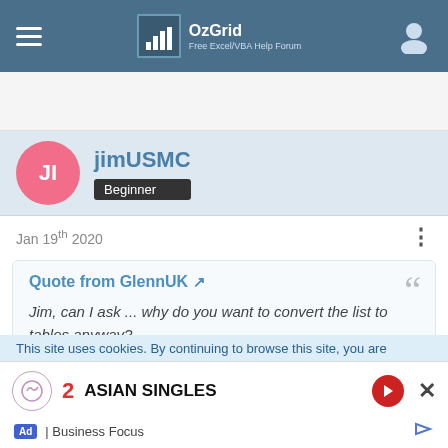OzGrid — Free Excel/VBA Help Forum
jimUSMC — Beginner
Jan 19th 2020
Quote from GlennUK — Jim, can I ask ... why do you want to convert the list to tables anyway?
Glenn, There will be more sheets and tables that will be
This site uses cookies. By continuing to browse this site, you are
2 ASIAN SINGLES — Ad | Business Focus